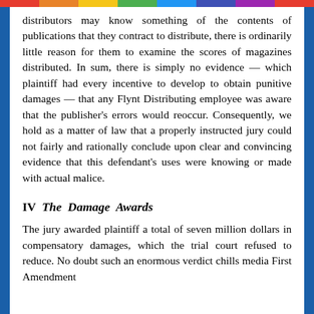distributors may know something of the contents of publications that they contract to distribute, there is ordinarily little reason for them to examine the scores of magazines distributed. In sum, there is simply no evidence — which plaintiff had every incentive to develop to obtain punitive damages — that any Flynt Distributing employee was aware that the publisher's errors would reoccur. Consequently, we hold as a matter of law that a properly instructed jury could not fairly and rationally conclude upon clear and convincing evidence that this defendant's uses were knowing or made with actual malice.
IV  The Damage Awards
The jury awarded plaintiff a total of seven million dollars in compensatory damages, which the trial court refused to reduce. No doubt such an enormous verdict chills media First Amendment